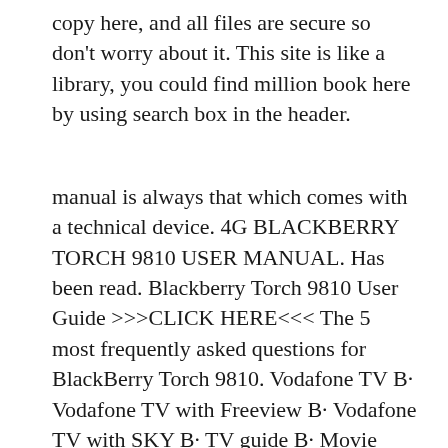copy here, and all files are secure so don't worry about it. This site is like a library, you could find million book here by using search box in the header.
manual is always that which comes with a technical device. 4G BLACKBERRY TORCH 9810 USER MANUAL. Has been read. Blackberry Torch 9810 User Guide >>>CLICK HERE<<< The 5 most frequently asked questions for BlackBerry Torch 9810. Vodafone TV B· Vodafone TV with Freeview B· Vodafone TV with SKY B· TV guide B· Movie guide. View a manual of the BlackBerry Torch 9810 below. All manuals on ManualsCat.com can be viewed completely free of charge. By using the 'Select a language' button, you can choose the language of the manual you want to view.